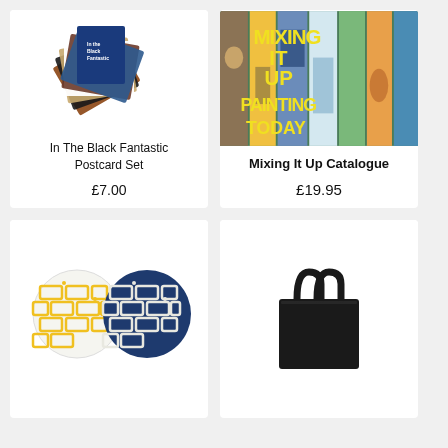[Figure (photo): In The Black Fantastic postcard set — a fan of colorful art postcards with a blue booklet on top]
In The Black Fantastic Postcard Set
£7.00
[Figure (photo): Mixing It Up catalogue cover — collage of paintings with yellow title text MIXING IT UP PAINTING TODAY]
Mixing It Up Catalogue
£19.95
[Figure (photo): Two circular coasters with brick-pattern design — one yellow on white, one white on navy blue]
[Figure (photo): Black tote bag with long handles]